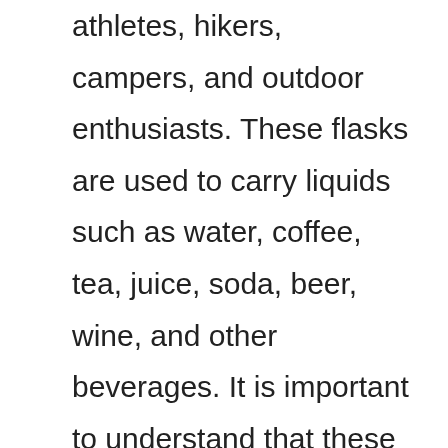athletes, hikers, campers, and outdoor enthusiasts. These flasks are used to carry liquids such as water, coffee, tea, juice, soda, beer, wine, and other beverages. It is important to understand that these flasks are not meant to store hot drinks. They are designed to hold cold drinks and keep them cool for long periods of time. There are many types of hydroflask available online. But, it is always recommended to buy from